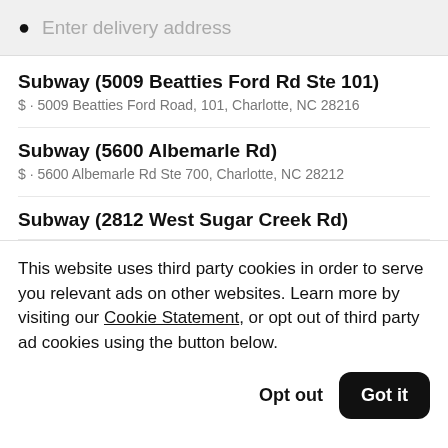Enter delivery address
Subway (5009 Beatties Ford Rd Ste 101)
$ · 5009 Beatties Ford Road, 101, Charlotte, NC 28216
Subway (5600 Albemarle Rd)
$ · 5600 Albemarle Rd Ste 700, Charlotte, NC 28212
Subway (2812 West Sugar Creek Rd)
This website uses third party cookies in order to serve you relevant ads on other websites. Learn more by visiting our Cookie Statement, or opt out of third party ad cookies using the button below.
Opt out
Got it